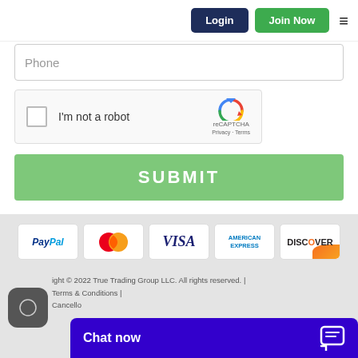[Figure (screenshot): Navigation header with Login (dark blue) and Join Now (green) buttons, and a hamburger menu icon on the right]
[Figure (screenshot): Phone input field with placeholder text 'Phone']
[Figure (screenshot): reCAPTCHA widget with checkbox, 'I'm not a robot' label, reCAPTCHA logo, Privacy and Terms links]
[Figure (screenshot): Green SUBMIT button]
[Figure (screenshot): Footer with payment method logos: PayPal, Mastercard, Visa, American Express, Discover]
Copyright © 2022 True Trading Group LLC. All rights reserved. | Terms & Conditions | Cancello
[Figure (screenshot): Blue chat widget with 'Chat now' text and chat icon]